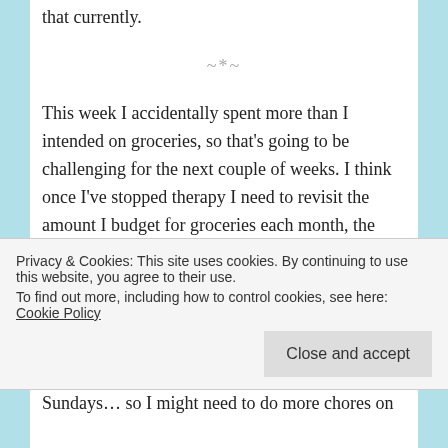that currently.
~*~
This week I accidentally spent more than I intended on groceries, so that's going to be challenging for the next couple of weeks. I think once I've stopped therapy I need to revisit the amount I budget for groceries each month, the cost of living increases are really starting to bite. I have about £30 left in my groceries categories, and two weekend shops left remaining.
Privacy & Cookies: This site uses cookies. By continuing to use this website, you agree to their use. To find out more, including how to control cookies, see here: Cookie Policy
Close and accept
Sundays… so I might need to do more chores on